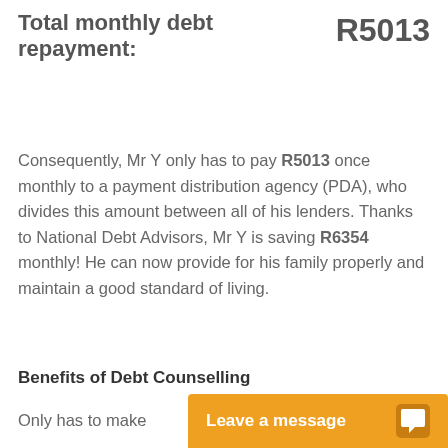Total monthly debt repayment: R5013
Consequently, Mr Y only has to pay R5013 once monthly to a payment distribution agency (PDA), who divides this amount between all of his lenders. Thanks to National Debt Advisors, Mr Y is saving R6354 monthly! He can now provide for his family properly and maintain a good standard of living.
Benefits of Debt Counselling
Only has to make